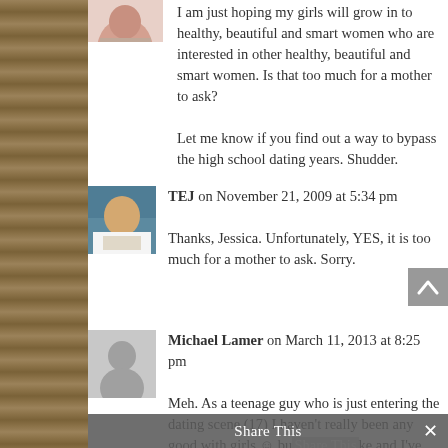[Figure (photo): Small avatar photo of a woman (partial, cropped) at top left]
I am just hoping my girls will grow in to healthy, beautiful and smart women who are interested in other healthy, beautiful and smart women. Is that too much for a mother to ask?

Let me know if you find out a way to bypass the high school dating years. Shudder.
[Figure (photo): Avatar photo of TEJ (man sitting outdoors)]
TEJ on November 21, 2009 at 5:34 pm
Thanks, Jessica. Unfortunately, YES, it is too much for a mother to ask. Sorry.
[Figure (photo): Generic grey silhouette placeholder avatar for Michael Lamer]
Michael Lamer on March 11, 2013 at 8:25 pm
Meh. As a teenage guy who is just entering the dating scene (17) I haven't really been any good with girls ☺ bu Share This like and I've dated for a while, but officially "boyfriend and...